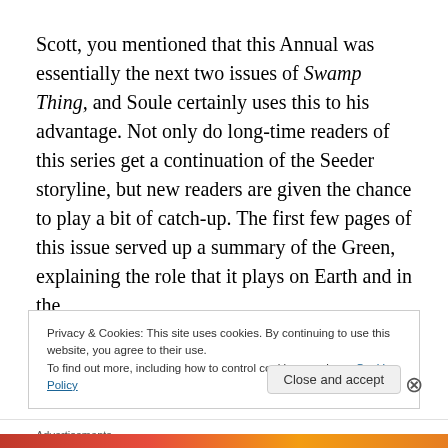Scott, you mentioned that this Annual was essentially the next two issues of Swamp Thing, and Soule certainly uses this to his advantage. Not only do long-time readers of this series get a continuation of the Seeder storyline, but new readers are given the chance to play a bit of catch-up. The first few pages of this issue served up a summary of the Green, explaining the role that it plays on Earth and in the
Privacy & Cookies: This site uses cookies. By continuing to use this website, you agree to their use.
To find out more, including how to control cookies, see here: Cookie Policy
Close and accept
Advertisements